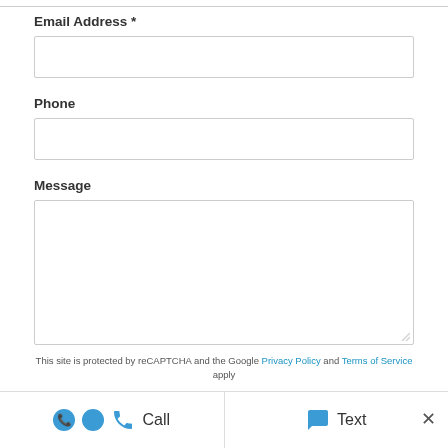Email Address *
[Figure (screenshot): Empty email address input field]
Phone
[Figure (screenshot): Empty phone number input field]
Message
[Figure (screenshot): Empty message textarea input field]
This site is protected by reCAPTCHA and the Google Privacy Policy and Terms of Service apply
Call
Text